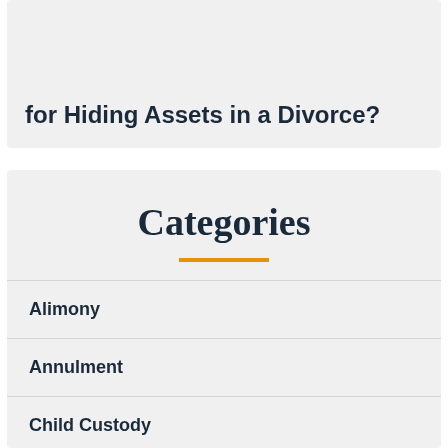Are There Consequences and Penalties for Hiding Assets in a Divorce?
Categories
Alimony
Annulment
Child Custody